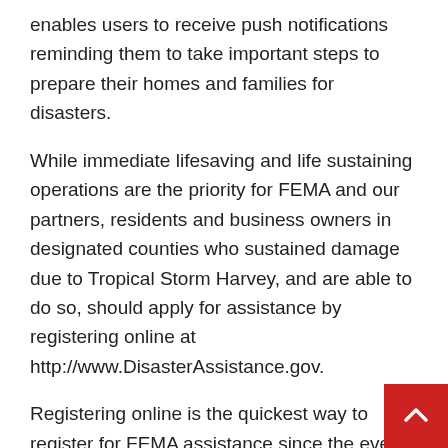enables users to receive push notifications reminding them to take important steps to prepare their homes and families for disasters.
While immediate lifesaving and life sustaining operations are the priority for FEMA and our partners, residents and business owners in designated counties who sustained damage due to Tropical Storm Harvey, and are able to do so, should apply for assistance by registering online at http://www.DisasterAssistance.gov.
Registering online is the quickest way to register for FEMA assistance since the event will last several days and the full scope of damages may not be evident until the storm has passed. If you do not have access to the internet you may register by calling 1-800-621-